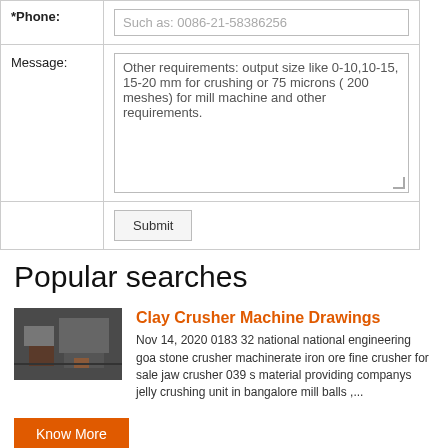| *Phone: | Such as: 0086-21-58386256 |
| Message: | Other requirements: output size like 0-10,10-15, 15-20 mm for crushing or 75 microns ( 200 meshes) for mill machine and other requirements. |
|  | Submit |
Popular searches
[Figure (photo): Thumbnail image of a clay crusher machine]
Clay Crusher Machine Drawings
Nov 14, 2020 0183 32 national national engineering goa stone crusher machinerate iron ore fine crusher for sale jaw crusher 039 s material providing companys jelly crushing unit in bangalore mill balls ,...
Know More